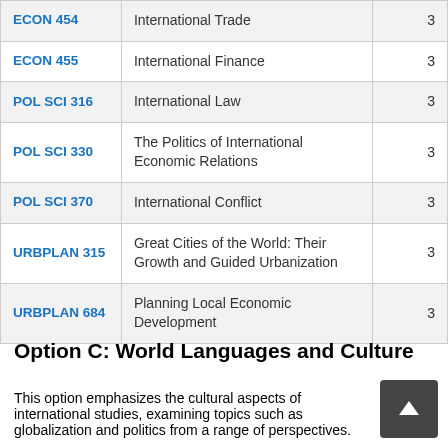| Course | Title | Credits |
| --- | --- | --- |
| ECON 454 | International Trade | 3 |
| ECON 455 | International Finance | 3 |
| POL SCI 316 | International Law | 3 |
| POL SCI 330 | The Politics of International Economic Relations | 3 |
| POL SCI 370 | International Conflict | 3 |
| URBPLAN 315 | Great Cities of the World: Their Growth and Guided Urbanization | 3 |
| URBPLAN 684 | Planning Local Economic Development | 3 |
Option C: World Languages and Culture
This option emphasizes the cultural aspects of international studies, examining topics such as globalization and politics from a range of perspectives.